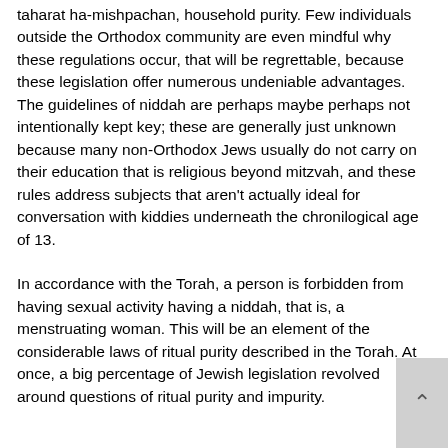taharat ha-mishpachan, household purity. Few individuals outside the Orthodox community are even mindful why these regulations occur, that will be regrettable, because these legislation offer numerous undeniable advantages. The guidelines of niddah are perhaps maybe perhaps not intentionally kept key; these are generally just unknown because many non-Orthodox Jews usually do not carry on their education that is religious beyond mitzvah, and these rules address subjects that aren't actually ideal for conversation with kiddies underneath the chronilogical age of 13.
In accordance with the Torah, a person is forbidden from having sexual activity having a niddah, that is, a menstruating woman. This will be an element of the considerable laws of ritual purity described in the Torah. At once, a big percentage of Jewish legislation revolved around questions of ritual purity and impurity.